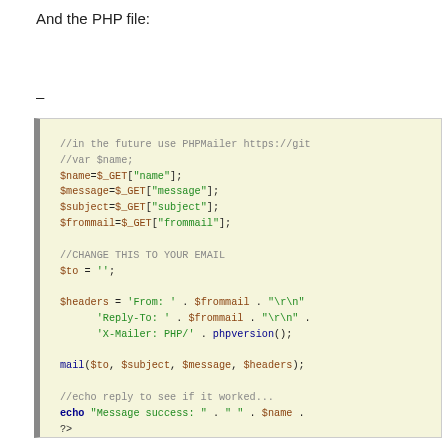And the PHP file:
–
[Figure (screenshot): Code block showing PHP code with syntax highlighting on a light yellow background. Code includes variable assignments from $_GET, headers construction, mail() call, and echo statement.]